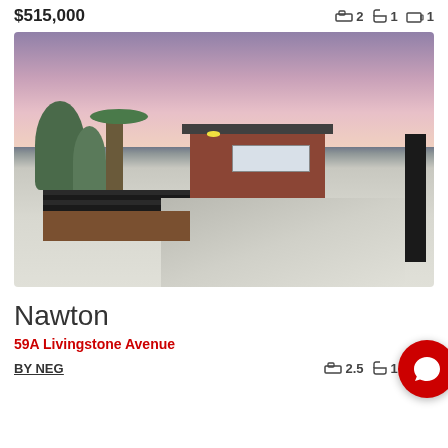$515,000
2  1  1
[Figure (photo): Exterior photo of a two-storey brick home with garage and concrete driveway at dusk/sunset with pink sky]
Nawton
59A Livingstone Avenue
BY NEG
2.5  1  1